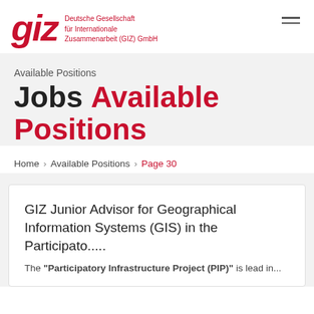[Figure (logo): GIZ logo with red italic 'giz' text and tagline 'Deutsche Gesellschaft für Internationale Zusammenarbeit (GIZ) GmbH' in red]
Available Positions
Jobs Available Positions
Home > Available Positions > Page 30
GIZ Junior Advisor for Geographical Information Systems (GIS) in the Participato.....
The "Participatory Infrastructure Project (PIP)" is lead in...